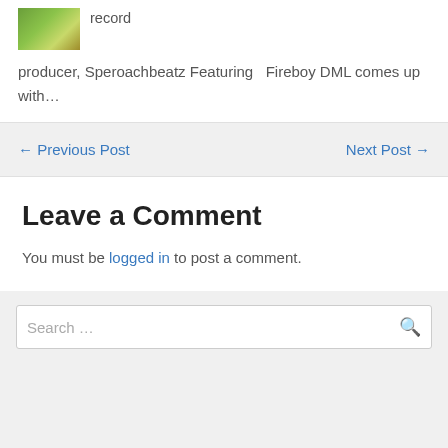[Figure (photo): Small thumbnail image with green/yellow tones, likely an album or article image]
record
producer, Speroachbeatz Featuring   Fireboy DML comes up with…
← Previous Post
Next Post →
Leave a Comment
You must be logged in to post a comment.
Search …